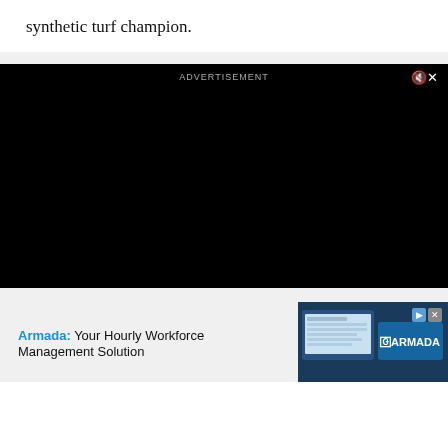synthetic turf champion.
[Figure (other): Black video advertisement player with 'ADVERTISEMENT' label and mute/close icon in top right]
[Figure (other): Armada advertisement banner: 'Armada: Your Hourly Workforce Management Solution' with a device screenshot and Armada logo on dark blue background]